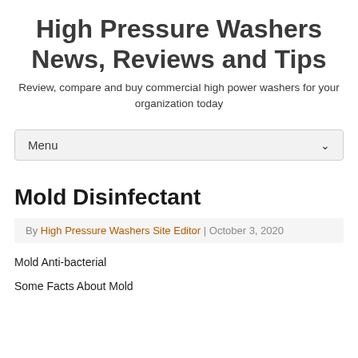High Pressure Washers News, Reviews and Tips
Review, compare and buy commercial high power washers for your organization today
Menu
Mold Disinfectant
By High Pressure Washers Site Editor | October 3, 2020
Mold Anti-bacterial
Some Facts About Mold